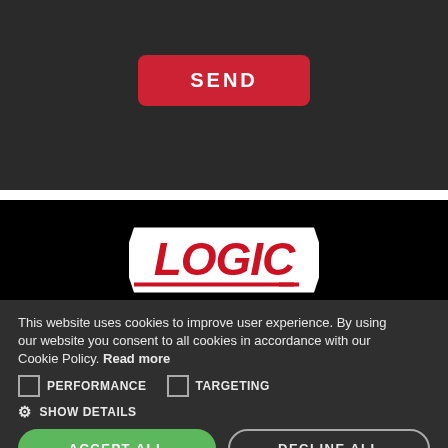[Figure (other): Dark background section with a red rounded SEND button centered near the top]
[Figure (logo): LOGIC brand logo in red italic letters on white shield/badge shape against black background]
This website uses cookies to improve user experience. By using our website you consent to all cookies in accordance with our Cookie Policy. Read more
PERFORMANCE
TARGETING
SHOW DETAILS
ACCEPT ALL
DECLINE ALL
POWERED BY COOKIE-SCRIPT